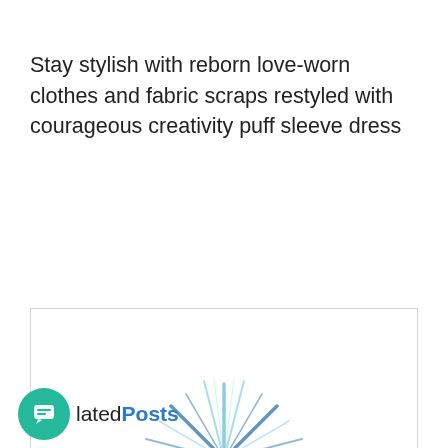Stay stylish with reborn love-worn clothes and fabric scraps restyled with courageous creativity puff sleeve dress
[Figure (logo): Telecom logo: a blue snowflake/asterisk-style starburst graphic above the bold blue text 'Telecom', with a small globe icon below]
Related Posts